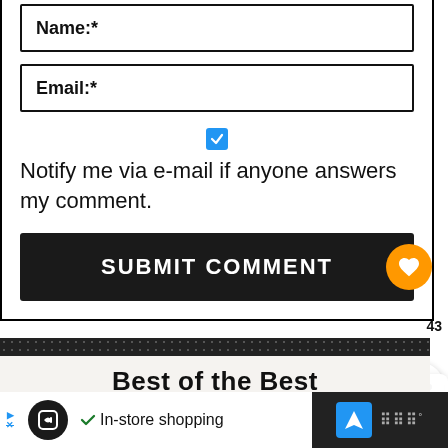Name:*
Email:*
Notify me via e-mail if anyone answers my comment.
SUBMIT COMMENT
Best of the Best
In-store shopping